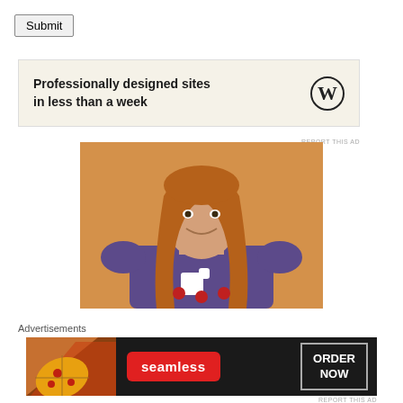[Figure (other): Submit button UI element]
Advertisements
[Figure (other): WordPress advertisement banner: 'Professionally designed sites in less than a week' with WordPress logo on cream/beige background]
REPORT THIS AD
[Figure (photo): Photo of a young woman with long red/auburn hair, wearing a purple top with a decorative design, smiling, standing against an orange/tan wall]
Advertisements
[Figure (other): Seamless food delivery advertisement banner: pizza image on left, 'seamless' red badge in center, 'ORDER NOW' button on right, dark background]